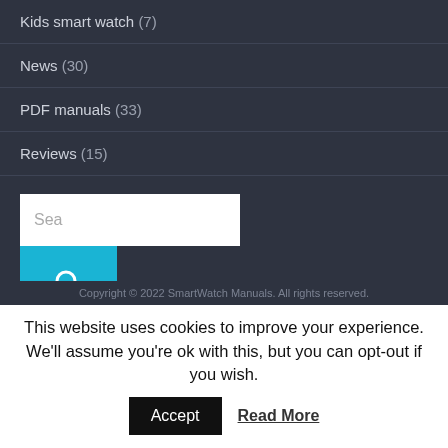Kids smart watch (7)
News (30)
PDF manuals (33)
Reviews (15)
[Figure (screenshot): Search input box with placeholder text 'Sea' and a teal search button with magnifying glass icon]
Copyright © 2022 SmartWatch Manuals. All rights reserved.
This website uses cookies to improve your experience. We'll assume you're ok with this, but you can opt-out if you wish.
Accept   Read More